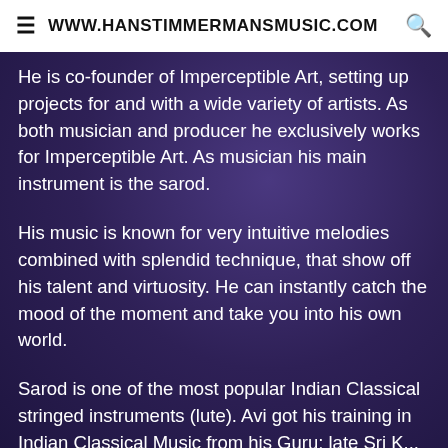☰ WWW.HANSTIMMERMANSMUSIC.COM 🔍
He is co-founder of Imperceptible Art, setting up projects for and with a wide variety of artists. As both musician and producer he exclusively works for Imperceptible Art. As musician his main instrument is the sarod.
His music is known for very intuitive melodies combined with splendid technique, that show off his talent and virtuosity. He can instantly catch the mood of the moment and take you into his own world.
Sarod is one of the most popular Indian Classical stringed instruments (lute). Avi got his training in Indian Classical Music from his Guru; late Sri K...